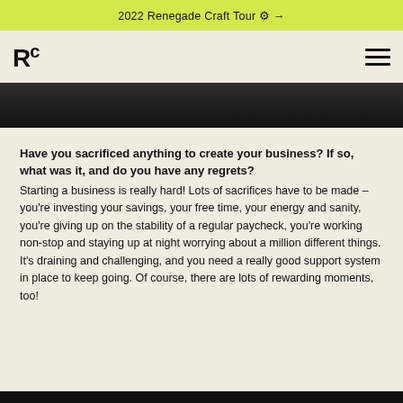2022 Renegade Craft Tour ⚙ →
[Figure (logo): Renegade Craft logo: RC with superscript c]
[Figure (photo): Dark photographic image strip, largely obscured crowd/event scene]
Have you sacrificed anything to create your business? If so, what was it, and do you have any regrets? Starting a business is really hard! Lots of sacrifices have to be made – you're investing your savings, your free time, your energy and sanity, you're giving up on the stability of a regular paycheck, you're working non-stop and staying up at night worrying about a million different things. It's draining and challenging, and you need a really good support system in place to keep going. Of course, there are lots of rewarding moments, too!